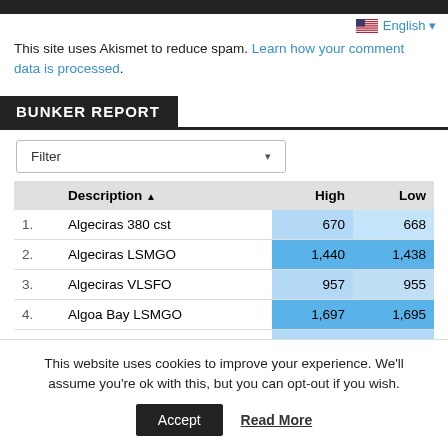🇺🇸 English ▾
This site uses Akismet to reduce spam. Learn how your comment data is processed.
BUNKER REPORT
|  | Description ▲ | High | Low |
| --- | --- | --- | --- |
| 1. | Algeciras 380 cst | 670 | 668 |
| 2. | Algeciras LSMGO | 1,440 | 1,438 |
| 3. | Algeciras VLSFO | 957 | 955 |
| 4. | Algoa Bay LSMGO | 1,697 | 1,695 |
This website uses cookies to improve your experience. We'll assume you're ok with this, but you can opt-out if you wish.
Accept   Read More